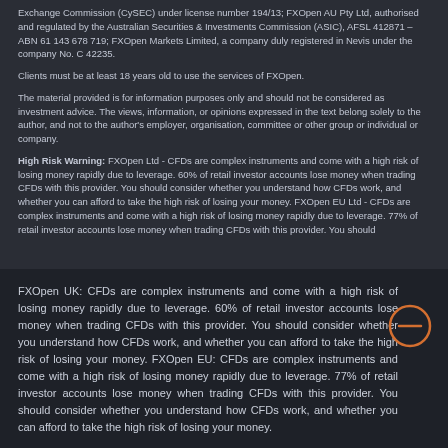Exchange Commission (CySEC) under license number 194/13; FXOpen AU Pty Ltd, authorised and regulated by the Australian Securities & Investments Commission (ASIC), AFSL 412871 – ABN 61 143 678 719; FXOpen Markets Limited, a company duly registered in Nevis under the company No. C 42235.
Clients must be at least 18 years old to use the services of FXOpen.
The material provided is for information purposes only and should not be considered as investment advice. The views, information, or opinions expressed in the text belong solely to the author, and not to the author's employer, organisation, committee or other group or individual or company.
High Risk Warning: FXOpen Ltd - CFDs are complex instruments and come with a high risk of losing money rapidly due to leverage. 60% of retail investor accounts lose money when trading CFDs with this provider. You should consider whether you understand how CFDs work, and whether you can afford to take the high risk of losing your money. FXOpen EU Ltd - CFDs are complex instruments and come with a high risk of losing money rapidly due to leverage. 77% of retail investor accounts lose money when trading CFDs with this provider. You should consider whether...
FXOpen UK: CFDs are complex instruments and come with a high risk of losing money rapidly due to leverage. 60% of retail investor accounts lose money when trading CFDs with this provider. You should consider whether you understand how CFDs work, and whether you can afford to take the high risk of losing your money. FXOpen EU: CFDs are complex instruments and come with a high risk of losing money rapidly due to leverage. 77% of retail investor accounts lose money when trading CFDs with this provider. You should consider whether you understand how CFDs work, and whether you can afford to take the high risk of losing your money.